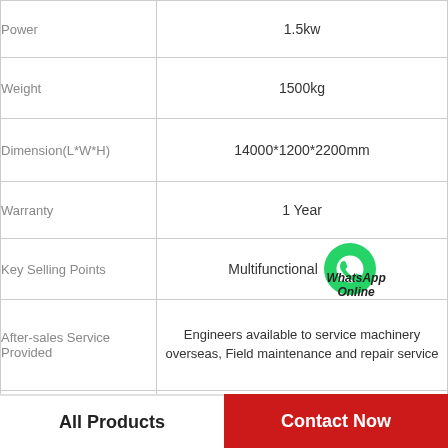| Attribute | Value |
| --- | --- |
| Power | 1.5kw |
| Weight | 1500kg |
| Dimension(L*W*H) | 14000*1200*2200mm |
| Warranty | 1 Year |
| Key Selling Points | Multifunctional |
| After-sales Service Provided | Engineers available to service machinery overseas, Field maintenance and repair service |
| Color | Silver |
| Function | Multifunctional |
All Products   Contact Now